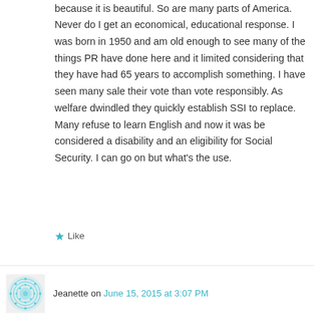because it is beautiful. So are many parts of America. Never do I get an economical, educational response. I was born in 1950 and am old enough to see many of the things PR have done here and it limited considering that they have had 65 years to accomplish something. I have seen many sale their vote than vote responsibly. As welfare dwindled they quickly establish SSI to replace. Many refuse to learn English and now it was be considered a disability and an eligibility for Social Security. I can go on but what's the use.
★ Like
Jeanette on June 15, 2015 at 3:07 PM